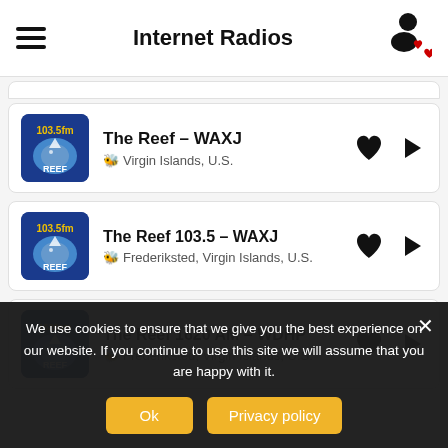Internet Radios
The Reef – WAXJ, Virgin Islands, U.S.
The Reef 103.5 – WAXJ, Frederiksted, Virgin Islands, U.S.
The Reef 1620 AM – WDHP, Frederiksted, Virgin Islands, U.S.
We use cookies to ensure that we give you the best experience on our website. If you continue to use this site we will assume that you are happy with it.